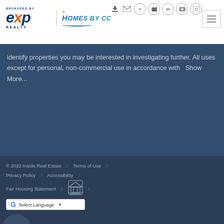[Figure (logo): eXp Realty logo with 'BROKERED BY' text above and 'REALTY' below in dark blue, with orange X]
[Figure (logo): Homes by CC logo with sun and water wave design in blue and orange tones]
[Figure (illustration): Social media and navigation icons in top right: login, email, Facebook, Twitter, LinkedIn, YouTube, Instagram]
[Figure (illustration): Hamburger menu icon in a square border]
identify properties you may be interested in investigating further. All uses except for personal, non-commercial use in accordance with  Show More...
© 2022 Inside Real Estate  /  Terms of Use  /  Privacy Policy  /  Accessibility  /  Fair Housing Statement  /  [Equal Housing Opportunity logo]  /
[Figure (illustration): Google Translate widget with G logo and 'Select Language' dropdown]
[Figure (illustration): Chat bubble widget with three dots]